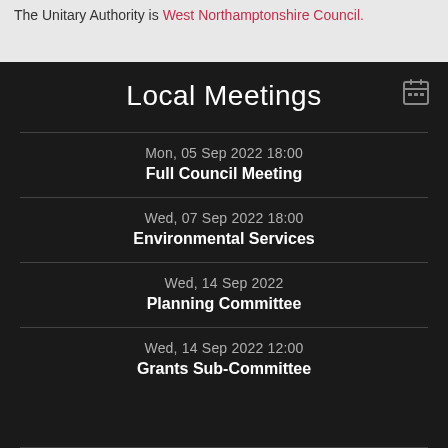The Unitary Authority is West Northamptonshire Council.
Local Meetings
Mon, 05 Sep 2022 18:00 — Full Council Meeting
Wed, 07 Sep 2022 18:00 — Environmental Services
Wed, 14 Sep 2022 — Planning Committee
Wed, 14 Sep 2022 12:00 — Grants Sub-Committee